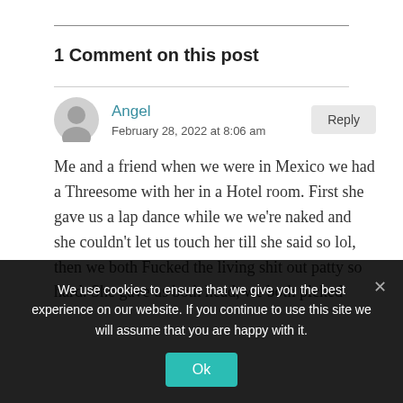1 Comment on this post
Angel
February 28, 2022 at 8:06 am
Me and a friend when we were in Mexico we had a Threesome with her in a Hotel room. First she gave us a lap dance while we we're naked and she couldn't let us touch her till she said so lol, then we both Fucked the living shit out patty so hard. She gave us both head, we both picked
We use cookies to ensure that we give you the best experience on our website. If you continue to use this site we will assume that you are happy with it.